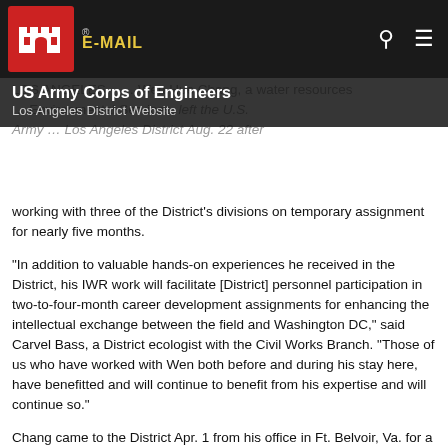E-MAIL | US Army Corps of Engineers Los Angeles District Website
LOS ANGELES – … Wen Hue Chang, a water resources … Environmental Services, left the U.S. Army … Los Angeles District Aug. 22 after working with three of the District's divisions on temporary assignment for nearly five months.
“In addition to valuable hands-on experiences he received in the District, his IWR work will facilitate [District] personnel participation in two-to-four-month career development assignments for enhancing the intellectual exchange between the field and Washington DC,” said Carvel Bass, a District ecologist with the Civil Works Branch. “Those of us who have worked with Wen both before and during his stay here, have benefitted and will continue to benefit from his expertise and will continue so.”
Chang came to the District Apr. 1 from his office in Ft. Belvoir, Va. for a developmental assignment. After some debate with his supervisor at IWR – Chang was requesting two months for the assignment and his boss was trying to tell him he needed six to